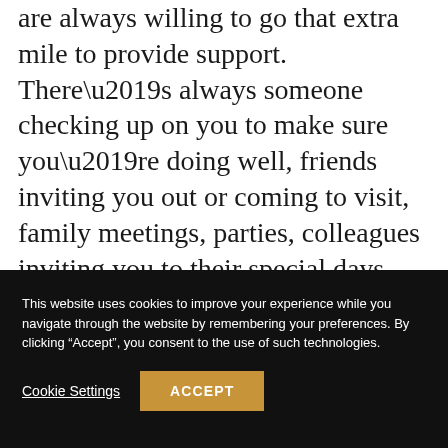are always willing to go that extra mile to provide support. There’s always someone checking up on you to make sure you’re doing well, friends inviting you out or coming to visit, family meetings, parties, colleagues inviting you to their special days. Someone is always willing to look into your eyes, or offer a smile, even in the big cities like Lagos.
This website uses cookies to improve your experience while you navigate through the website by remembering your preferences. By clicking “Accept”, you consent to the use of such technologies.
Cookie Settings
ACCEPT